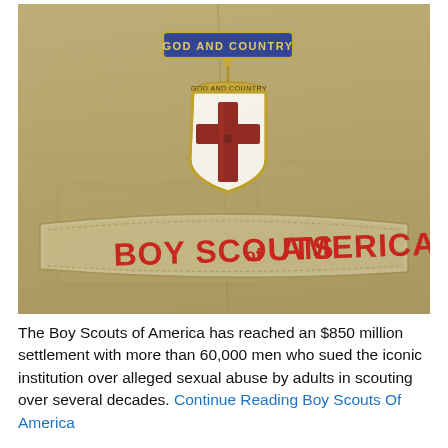[Figure (photo): Close-up photo of a Boy Scouts of America uniform shirt in tan/khaki color. Visible on the shirt is a 'GOD AND COUNTRY' pin (blue bar with gold lettering) attached above a shield-shaped medal with a red cross on white background. Below the medal is an embroidered patch reading 'BOY SCOUTS of AMERICA' in red lettering on a tan fabric strip.]
The Boy Scouts of America has reached an $850 million settlement with more than 60,000 men who sued the iconic institution over alleged sexual abuse by adults in scouting over several decades. Continue Reading Boy Scouts Of America